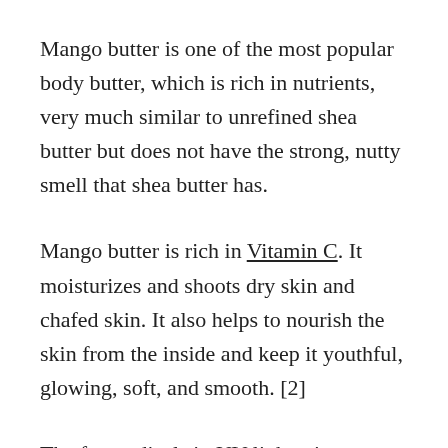Mango butter is one of the most popular body butter, which is rich in nutrients, very much similar to unrefined shea butter but does not have the strong, nutty smell that shea butter has.
Mango butter is rich in Vitamin C. It moisturizes and shoots dry skin and chafed skin. It also helps to nourish the skin from the inside and keep it youthful, glowing, soft, and smooth. [2]
The free radicals in UV light, cigarettes, and pollutants destroy the skin’s structure. Make it